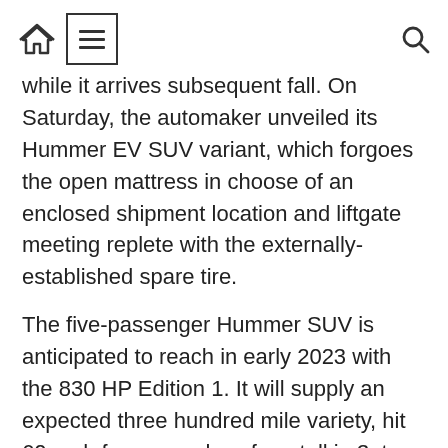Home / Menu / Search
while it arrives subsequent fall. On Saturday, the automaker unveiled its Hummer EV SUV variant, which forgoes the open mattress in choose of an enclosed shipment location and liftgate meeting replete with the externally-established spare tire.
The five-passenger Hummer SUV is anticipated to reach in early 2023 with the 830 HP Edition 1. It will supply an expected three hundred mile variety, hit 60 mph from a useless forestall in 3. to five seconds (only a 1/2 of 2nd slower than the pickup).